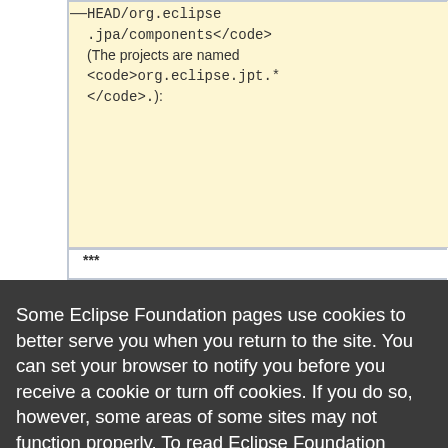| -<code>HEAD/org.eclipse.jpa/components</code> (The projects are named <code>org.eclipse.jpt.*</code>.): | + |
| *** |  |
Some Eclipse Foundation pages use cookies to better serve you when you return to the site. You can set your browser to notify you before you receive a cookie or turn off cookies. If you do so, however, some areas of some sites may not function properly. To read Eclipse Foundation Privacy Policy click here.